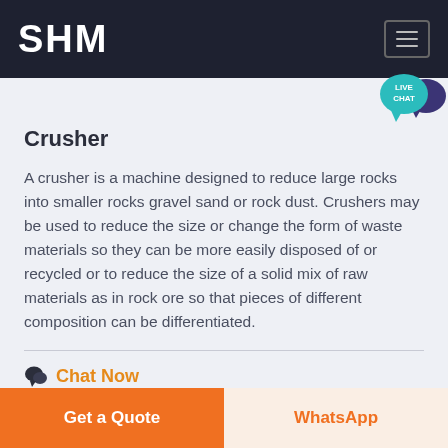SHM
[Figure (logo): Live Chat speech bubble icon in teal/purple, labeled LIVE CHAT]
Crusher
A crusher is a machine designed to reduce large rocks into smaller rocks gravel sand or rock dust. Crushers may be used to reduce the size or change the form of waste materials so they can be more easily disposed of or recycled or to reduce the size of a solid mix of raw materials as in rock ore so that pieces of different composition can be differentiated.
Chat Now